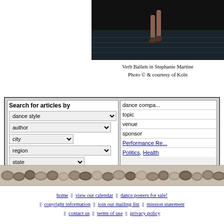[Figure (photo): Ballet dancer legs on dark stage steps, dark background]
Verb Ballets in Stephanie Martine
Photo © & courtesy of Koln
[Figure (screenshot): Search for articles by form with dropdowns: dance style, author, city, region, state; and right column: dance company, topic, venue, sponsor, Performance Re..., Politics, Health]
[Figure (photo): Decorative band of stones/pebbles]
home || view our calendar || dance posters for sale! || copyright information || join our mailing list || mission statement || contact us || terms of use || privacy policy